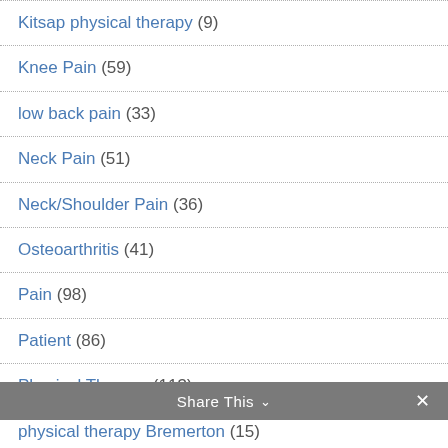Kitsap physical therapy (9)
Knee Pain (59)
low back pain (33)
Neck Pain (51)
Neck/Shoulder Pain (36)
Osteoarthritis (41)
Pain (98)
Patient (86)
Physical Therapy (113)
physical therapy Bremerton (15)
physical therapy Port Orchard (14)
Share This ∨  ✕